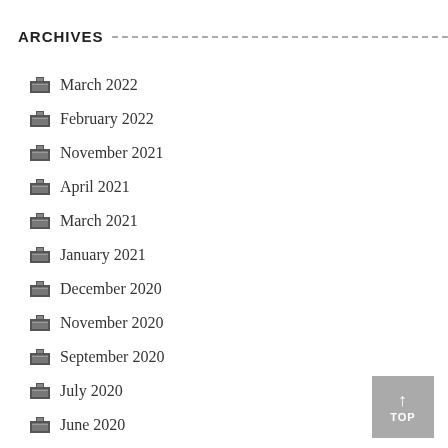ARCHIVES
March 2022
February 2022
November 2021
April 2021
March 2021
January 2021
December 2020
November 2020
September 2020
July 2020
June 2020
May 2020